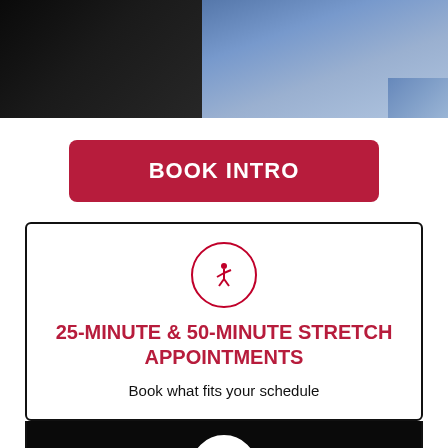[Figure (photo): Partial photo showing a person in a black shirt and blue jeans, cropped at the top of the page]
BOOK INTRO
[Figure (illustration): Red circle icon with a stretching figure silhouette]
25-MINUTE & 50-MINUTE STRETCH APPOINTMENTS
Book what fits your schedule
[Figure (illustration): White circle icon with a stretching figure silhouette on black background]
SHARE A MEMBERSHIP!